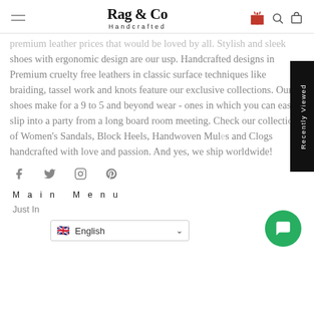Rag & Co Handcrafted
premium leather prices that would be loved by all. Stylish and sleek shoes with ergonomic design are our usp. Handcrafted designs in Premium cruelty free leathers in classic surface techniques like braiding, tassel work and knots feature our exclusive collections. Our shoes make for a 9 to 5 and beyond wear - ones in which you can easily slip into a party from a long board room meeting. Check our collection of Women's Sandals, Block Heels, Handwoven Mules and Clogs handcrafted with love and passion. And yes, we ship worldwide!
[Figure (other): Social media icons: Facebook, Twitter, Instagram, Pinterest]
Main Menu
Just In
[Figure (screenshot): English language selector dropdown with UK flag]
[Figure (other): Green circular chat/support button]